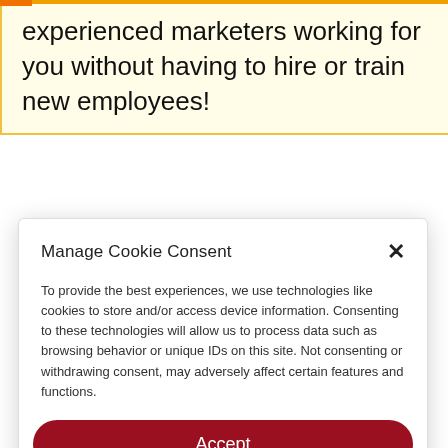experienced marketers working for you without having to hire or train new employees!
Manage Cookie Consent
To provide the best experiences, we use technologies like cookies to store and/or access device information. Consenting to these technologies will allow us to process data such as browsing behavior or unique IDs on this site. Not consenting or withdrawing consent, may adversely affect certain features and functions.
Accept
Deny
View preferences